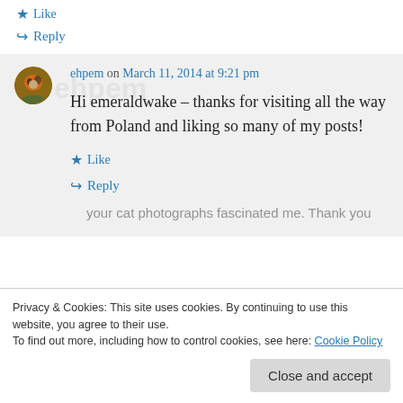★ Like
↪ Reply
ehpem on March 11, 2014 at 9:21 pm
Hi emeraldwake – thanks for visiting all the way from Poland and liking so many of my posts!
★ Like
↪ Reply
Privacy & Cookies: This site uses cookies. By continuing to use this website, you agree to their use.
To find out more, including how to control cookies, see here: Cookie Policy
Close and accept
your cat photographs fascinated me. Thank you